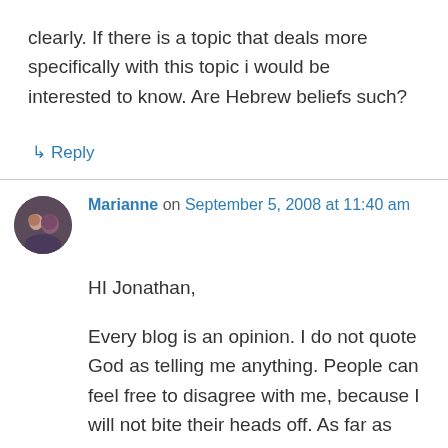clearly. If there is a topic that deals more specifically with this topic i would be interested to know. Are Hebrew beliefs such?
↳ Reply
Marianne on September 5, 2008 at 11:40 am
HI Jonathan,
Every blog is an opinion. I do not quote God as telling me anything. People can feel free to disagree with me, because I will not bite their heads off. As far as politics, I generally try to stay away from it, since religious differences is enough to be different about. I am really more concerned about moral issues, and how